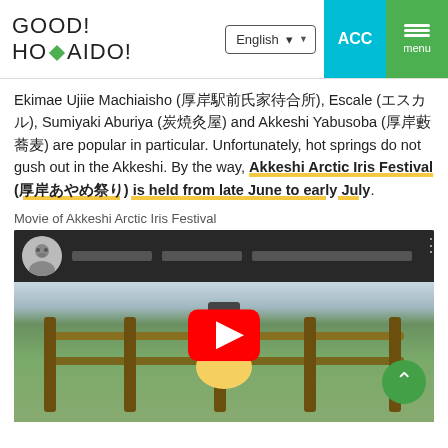GOOD! HOKAIDO!
Ekimae Ujiie Machiaisho (厚岸駅前氏家待合所), Escale (エスカル), Sumiyaki Aburiya (炭焼灸屋) and Akkeshi Yabusoba (厚岸藪蕎麦) are popular in particular. Unfortunately, hot springs do not gush out in the Akkeshi. By the way, Akkeshi Arctic Iris Festival (厚岸あやめ祭り) is held from late June to early July.
Movie of Akkeshi Arctic Iris Festival
[Figure (screenshot): YouTube video thumbnail showing a mascot character (cow-like figure) sitting on a wooden fence in a green outdoor setting, with a red YouTube play button overlay. The video header shows a channel avatar and blurred text metadata.]